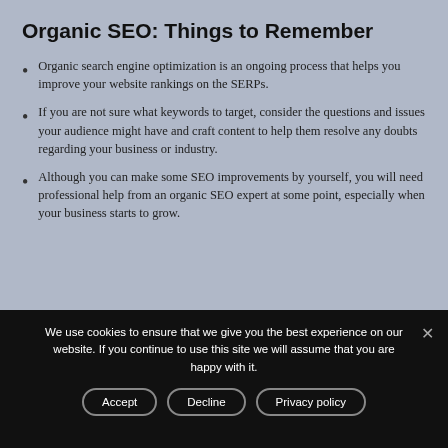Organic SEO: Things to Remember
Organic search engine optimization is an ongoing process that helps you improve your website rankings on the SERPs.
If you are not sure what keywords to target, consider the questions and issues your audience might have and craft content to help them resolve any doubts regarding your business or industry.
Although you can make some SEO improvements by yourself, you will need professional help from an organic SEO expert at some point, especially when your business starts to grow.
We use cookies to ensure that we give you the best experience on our website. If you continue to use this site we will assume that you are happy with it.
Accept | Decline | Privacy policy